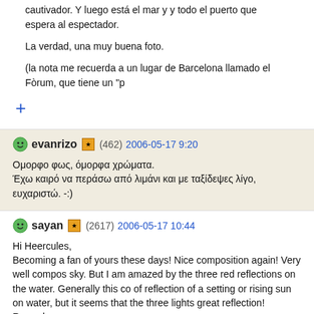cautivador. Y luego está el mar y y todo el puerto que espera al espectador.
La verdad, una muy buena foto.
(la nota me recuerda a un lugar de Barcelona llamado el Fòrum, que tiene un "p
+
evanrizo (462) 2006-05-17 9:20
Ομορφο φως, όμορφα χρώματα.
Έχω καιρό να περάσω από λιμάνι και με ταξίδεψες λίγο, ευχαριστώ. -:)
sayan (2617) 2006-05-17 10:44
Hi Heercules,
Becoming a fan of yours these days! Nice composition again! Very well compos sky. But I am amazed by the three red reflections on the water. Generally this co of reflection of a setting or rising sun on water, but it seems that the three lights great reflection!
Regards,
Sayan
Xalkida (11744) 2006-05-17 10:49